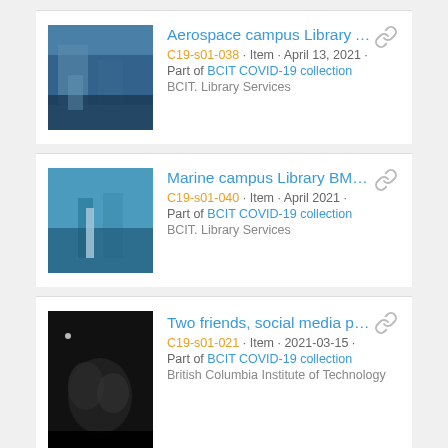Aerospace campus Library ATC, Li... | C19-s01-038 · Item · April 13, 2021 · | Part of BCIT COVID-19 collection | BCIT. Library Services
Marine campus Library BMC, Libra... | C19-s01-040 · Item · April 2021 · | Part of BCIT COVID-19 collection | BCIT. Library Services
Two friends, social media post | C19-s01-021 · Item · 2021-03-15 · | Part of BCIT COVID-19 collection | British Columbia Institute of Technology